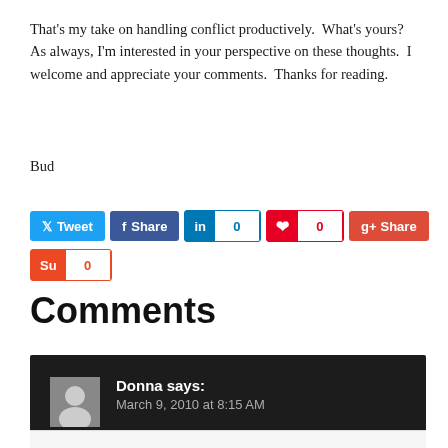That's my take on handling conflict productively. What's yours? As always, I'm interested in your perspective on these thoughts. I welcome and appreciate your comments. Thanks for reading.
Bud
[Figure (infographic): Social share buttons: Tweet (Twitter), Share (Facebook), LinkedIn count 0, Pinterest count 0, Google+ Share, StumbleUpon count 0]
Comments
Donna says: March 9, 2010 at 8:15 AM